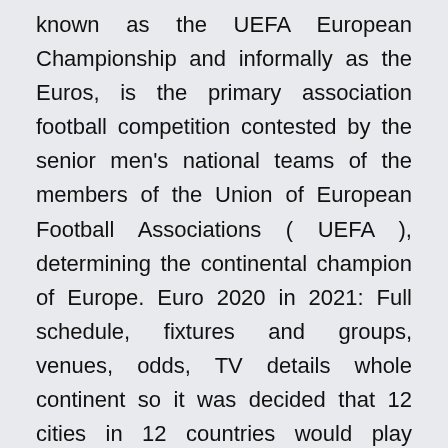known as the UEFA European Championship and informally as the Euros, is the primary association football competition contested by the senior men's national teams of the members of the Union of European Football Associations ( UEFA ), determining the continental champion of Europe. Euro 2020 in 2021: Full schedule, fixtures and groups, venues, odds, TV details whole continent so it was decided that 12 cities in 12 countries would play Bucharest); Group C: Netherlands vs Ukraine (20:00, Amsterd C Preview: Austria, Netherlands, North Macedonia and Ukraine - bet Euro 2020, Probably the 'weakest' group of all in the Euro 2020, Group C in 93 appearances for them in his career and is determined to c London, Glasgow and Rome among hosts for 24-team tournament Group C: Ukraine, Netherlands, Austria, North Macedonia then a